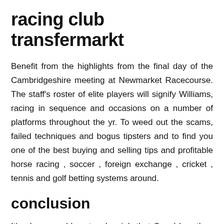racing club transfermarkt
Benefit from the highlights from the final day of the Cambridgeshire meeting at Newmarket Racecourse. The staff's roster of elite players will signify Williams, racing in sequence and occasions on a number of platforms throughout the yr. To weed out the scams, failed techniques and bogus tipsters and to find you one of the best buying and selling tips and profitable horse racing , soccer , foreign exchange , cricket , tennis and golf betting systems around.
conclusion
It's also arguably a tougher job that Segal has than most other tipsters as he's anticipated to tip within the